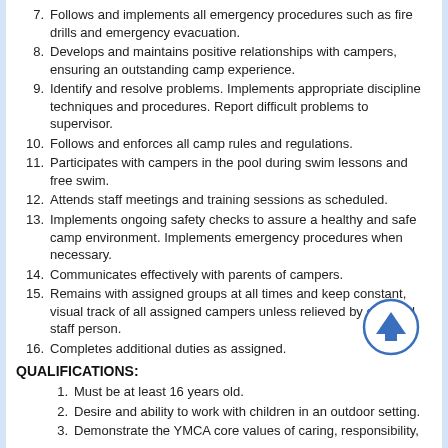7. Follows and implements all emergency procedures such as fire drills and emergency evacuation.
8. Develops and maintains positive relationships with campers, ensuring an outstanding camp experience.
9. Identify and resolve problems. Implements appropriate discipline techniques and procedures. Report difficult problems to supervisor.
10. Follows and enforces all camp rules and regulations.
11. Participates with campers in the pool during swim lessons and free swim.
12. Attends staff meetings and training sessions as scheduled.
13. Implements ongoing safety checks to assure a healthy and safe camp environment. Implements emergency procedures when necessary.
14. Communicates effectively with parents of campers.
15. Remains with assigned groups at all times and keep constant, visual track of all assigned campers unless relieved by qualified staff person.
16. Completes additional duties as assigned.
QUALIFICATIONS:
1. Must be at least 16 years old.
2. Desire and ability to work with children in an outdoor setting.
3. Demonstrate the YMCA core values of caring, responsibility,